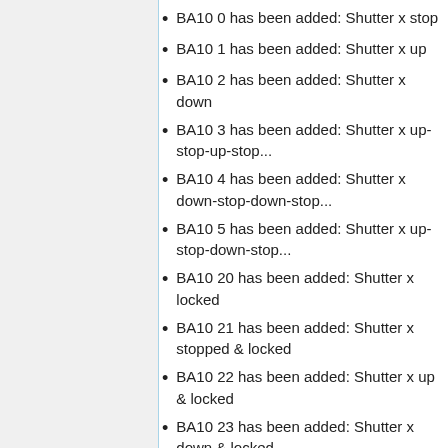BA10 0 has been added: Shutter x stop
BA10 1 has been added: Shutter x up
BA10 2 has been added: Shutter x down
BA10 3 has been added: Shutter x up-stop-up-stop...
BA10 4 has been added: Shutter x down-stop-down-stop...
BA10 5 has been added: Shutter x up-stop-down-stop...
BA10 20 has been added: Shutter x locked
BA10 21 has been added: Shutter x stopped & locked
BA10 22 has been added: Shutter x up & locked
BA10 23 has been added: Shutter x down & locked